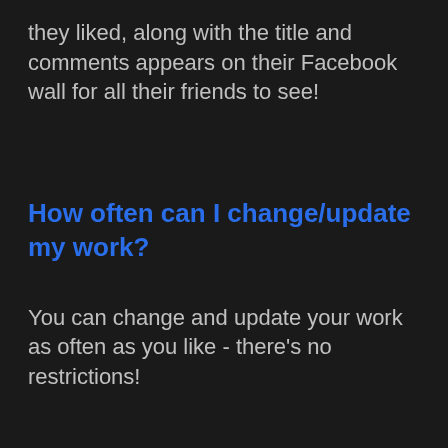they liked, along with the title and comments appears on their Facebook wall for all their friends to see!
How often can I change/update my work?
You can change and update your work as often as you like - there's no restrictions!